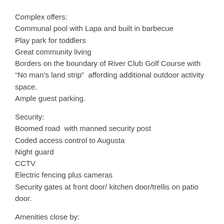Complex offers:
Communal pool with Lapa and built in barbecue
Play park for toddlers
Great community living
Borders on the boundary of River Club Golf Course with "No man's land strip"  affording additional outdoor activity space.
Ample guest parking.
Security:
Boomed road  with manned security post
Coded access control to Augusta
Night guard
CCTV
Electric fencing plus cameras
Security gates at front door/ kitchen door/trellis on patio door.
Amenities close by:
Nicol Way Shopping Centre
Hobart Square Centre
Coachman's Crossing Shopping Centre
Saint Stithians College